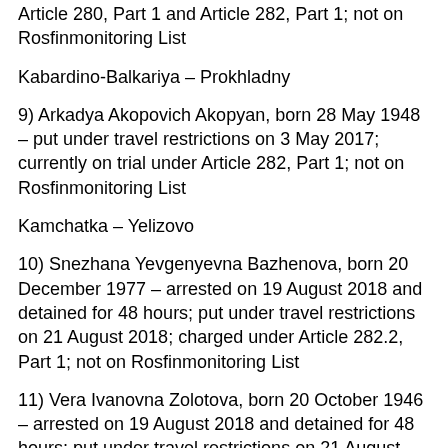Article 280, Part 1 and Article 282, Part 1; not on Rosfinmonitoring List
Kabardino-Balkariya – Prokhladny
9) Arkadya Akopovich Akopyan, born 28 May 1948 – put under travel restrictions on 3 May 2017; currently on trial under Article 282, Part 1; not on Rosfinmonitoring List
Kamchatka – Yelizovo
10) Snezhana Yevgenyevna Bazhenova, born 20 December 1977 – arrested on 19 August 2018 and detained for 48 hours; put under travel restrictions on 21 August 2018; charged under Article 282.2, Part 1; not on Rosfinmonitoring List
11) Vera Ivanovna Zolotova, born 20 October 1946 – arrested on 19 August 2018 and detained for 48 hours; put under travel restrictions on 21 August 2018; charged under Article 282.2, Part 1; not on Rosfinmonitoring List